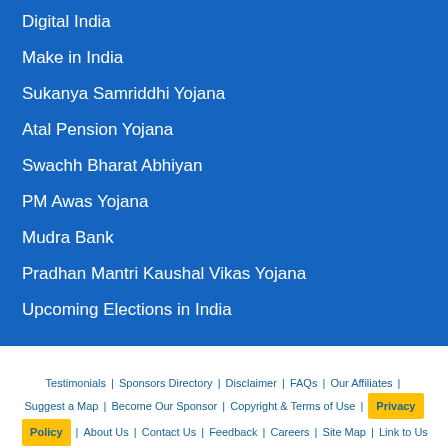Digital India
Make in India
Sukanya Samriddhi Yojana
Atal Pension Yojana
Swachh Bharat Abhiyan
PM Awas Yojana
Mudra Bank
Pradhan Mantri Kaushal Vikas Yojana
Upcoming Elections in India
Testimonials | Sponsors Directory | Disclaimer | FAQs | Our Affiliates | Suggest a Map | Become Our Sponsor | Copyright & Terms of Use | Privacy Policy | About Us | Contact Us | Feedback | Careers | Site Map | Link to Us | Press Release | Get the latest Issue of Weekly Newsletter